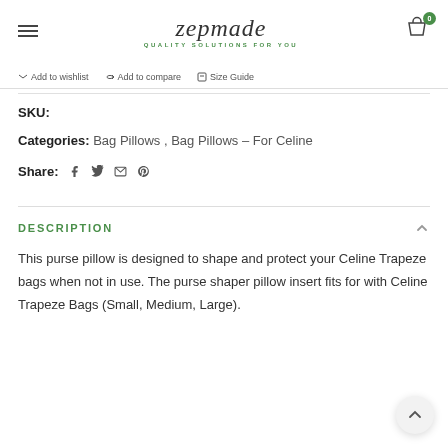zepmade — QUALITY SOLUTIONS FOR YOU
Add to wishlist  Add to compare  Size Guide
SKU:
Categories: Bag Pillows , Bag Pillows - For Celine
Share:
DESCRIPTION
This purse pillow is designed to shape and protect your Celine Trapeze bags when not in use. The purse shaper pillow insert fits for with Celine Trapeze Bags (Small, Medium, Large).